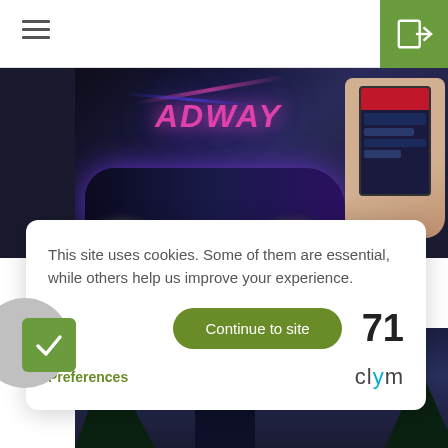[Figure (screenshot): Website header with hamburger menu icon on left and green login button with arrow icon on right]
[Figure (photo): Dark photo showing a car with ADWAY branding and a hand holding a smartphone]
This site uses cookies. Some of them are essential, while others help us improve your experience.
Continue to site
71
Preferences
[Figure (logo): Clym logo in dark text with a teal/cyan accent]
[Figure (photo): Dark night-sky photo with drone hovering over a house with trees in background]
[Figure (illustration): Green checkmark icon square in bottom left]